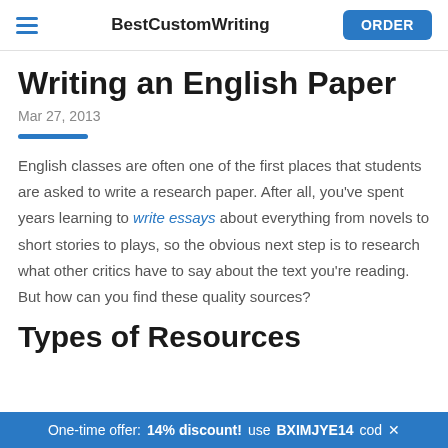BestCustomWriting | ORDER
Writing an English Paper
Mar 27, 2013
English classes are often one of the first places that students are asked to write a research paper. After all, you've spent years learning to write essays about everything from novels to short stories to plays, so the obvious next step is to research what other critics have to say about the text you're reading. But how can you find these quality sources?
Types of Resources
One-time offer: 14% discount! use BXIMJYE14 code